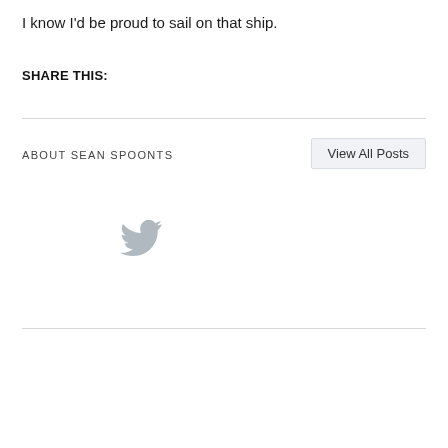I know I'd be proud to sail on that ship.
SHARE THIS:
ABOUT SEAN SPOONTS
View All Posts
[Figure (logo): Twitter bird icon in light grey]